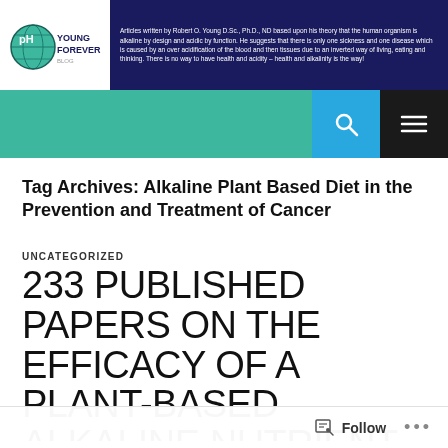Articles written by Robert O. Young D.Sc., Ph.D., ND based upon his theory that the human organism is alkaline by design and acidic by function. He suggests that there is only one sickness and one disease which is caused by an over acidification of the blood and then tissues due to an inverted way of living, eating and thinking. There is no way to have health and acidity – health and alkalinity is the way!
Tag Archives: Alkaline Plant Based Diet in the Prevention and Treatment of Cancer
UNCATEGORIZED
233 PUBLISHED PAPERS ON THE EFFICACY OF A PLANT-BASED ALKALINE NUTRIENT RICH PH